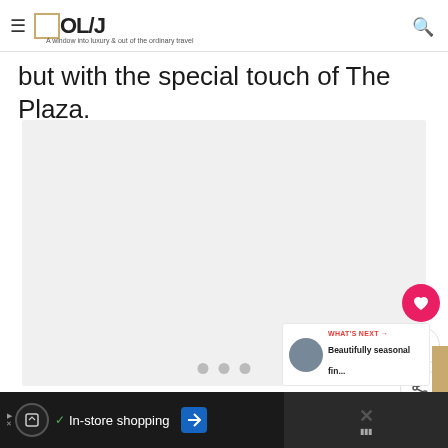OL/J — A window into luxury & out of the ordinary travel
but with the special touch of The Plaza.
[Figure (photo): Light gray placeholder image area with carousel dots indicating multiple slides]
1
WHAT'S NEXT → Beautifully seasonal fin...
In-store shopping (advertisement bar)